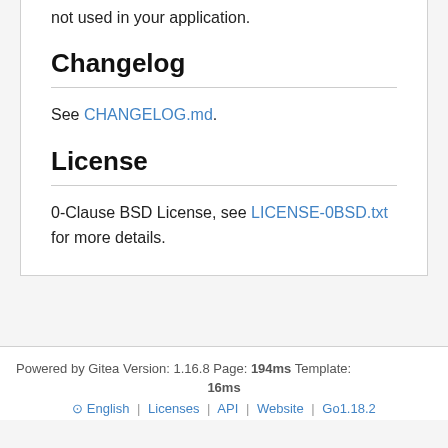not used in your application.
Changelog
See CHANGELOG.md.
License
0-Clause BSD License, see LICENSE-0BSD.txt for more details.
Powered by Gitea Version: 1.16.8 Page: 194ms Template: 16ms | English | Licenses | API | Website | Go1.18.2